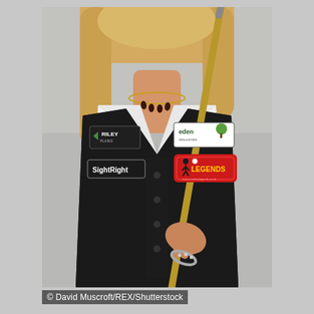[Figure (photo): A woman wearing a black snooker vest over a white long-sleeve shirt, holding a snooker cue. The vest has sponsor patches: Riley (top left), eden resources (top right), SightRight (left chest), and Snooker Legends (right chest, red badge). She wears a gold necklace with dark teardrop pendants and a jeweled bracelet. Her blonde hair is visible at the top. The background is a neutral grey studio backdrop.]
© David Muscroft/REX/Shutterstock